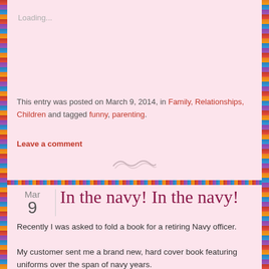Loading...
This entry was posted on March 9, 2014, in Family, Relationships, Children and tagged funny, parenting.
Leave a comment
[Figure (illustration): Decorative squiggle/swirl divider in light gray]
In the navy! In the navy!
Recently I was asked to fold a book for a retiring Navy officer.
My customer sent me a brand new, hard cover book featuring uniforms over the span of navy years.
To say I was daunted was an understatement.